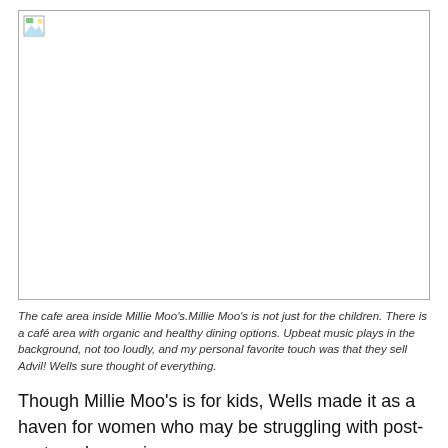[Figure (photo): Photo of the cafe area inside Millie Moo's — broken/missing image placeholder shown]
The cafe area inside Millie Moo's.Millie Moo's is not just for the children. There is a café area with organic and healthy dining options. Upbeat music plays in the background, not too loudly, and my personal favorite touch was that they sell Advil! Wells sure thought of everything.
Though Millie Moo's is for kids, Wells made it as a haven for women who may be struggling with post-partum depression, or